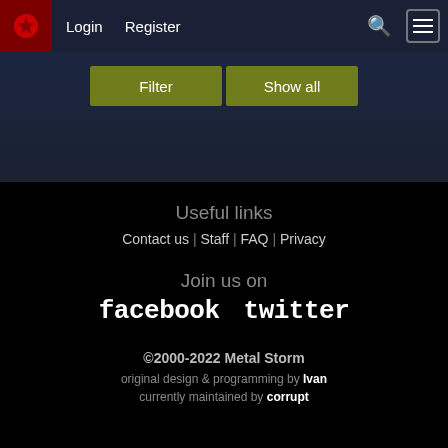Login | Register
Filter | Show all
Useful links
Contact us | Staff | FAQ | Privacy
Join us on
facebook   twitter
©2000-2022 Metal Storm
original design & programming by Ivan
currently maintained by corrupt